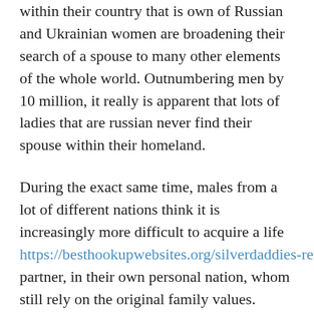within their country that is own of Russian and Ukrainian women are broadening their search of a spouse to many other elements of the whole world. Outnumbering men by 10 million, it really is apparent that lots of ladies that are russian never find their spouse within their homeland.
During the exact same time, males from a lot of different nations think it is increasingly more difficult to acquire a life https://besthookupwebsites.org/silverdaddies-review/ partner, in their own personal nation, whom still rely on the original family values. Russian women can be generally speaking well-educated, modern women that still rely on the conventional family members. Every year, several thousand Russian ladies get to be the stunning brides and charming